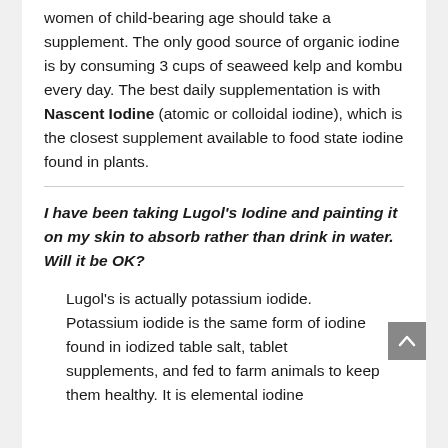women of child-bearing age should take a supplement. The only good source of organic iodine is by consuming 3 cups of seaweed kelp and kombu every day. The best daily supplementation is with Nascent Iodine (atomic or colloidal iodine), which is the closest supplement available to food state iodine found in plants.
I have been taking Lugol's Iodine and painting it on my skin to absorb rather than drink in water. Will it be OK?
Lugol's is actually potassium iodide. Potassium iodide is the same form of iodine found in iodized table salt, tablet supplements, and fed to farm animals to keep them healthy. It is elemental iodine